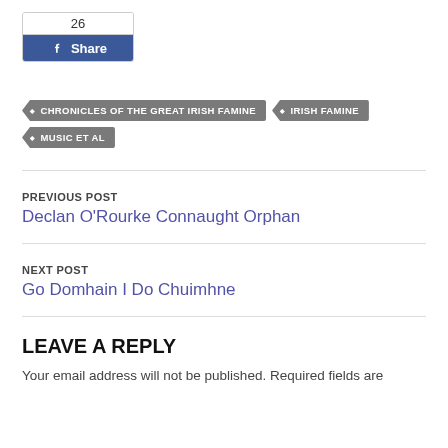[Figure (other): Facebook Share button showing count of 26 and a blue Share button with Facebook icon]
CHRONICLES OF THE GREAT IRISH FAMINE
IRISH FAMINE
MUSIC ET AL
PREVIOUS POST
Declan O'Rourke Connaught Orphan
NEXT POST
Go Domhain I Do Chuimhne
LEAVE A REPLY
Your email address will not be published. Required fields are